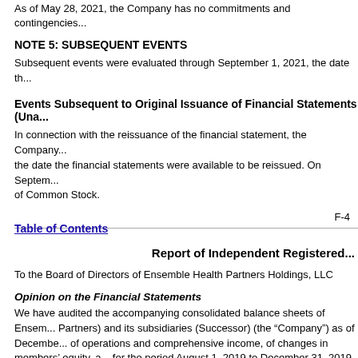As of May 28, 2021, the Company has no commitments and contingencies...
NOTE 5: SUBSEQUENT EVENTS
Subsequent events were evaluated through September 1, 2021, the date th...
Events Subsequent to Original Issuance of Financial Statements (Una...
In connection with the reissuance of the financial statement, the Company...the date the financial statements were available to be reissued. On Septem...of Common Stock.
F-4
Table of Contents
Report of Independent Registered...
To the Board of Directors of Ensemble Health Partners Holdings, LLC
Opinion on the Financial Statements
We have audited the accompanying consolidated balance sheets of Ensem...Partners) and its subsidiaries (Successor) (the “Company”) as of Decembe...of operations and comprehensive income, of changes in members’ equity, a...for the period August 1, 2019 to December 31, 2019, including the related n...statements”). In our opinion, the consolidated financial statements present...Company as of December 31, 2020 and 2019, and the results of its operatio...and for the period August 1, 2019 to December 31, 2019 in conformity with...